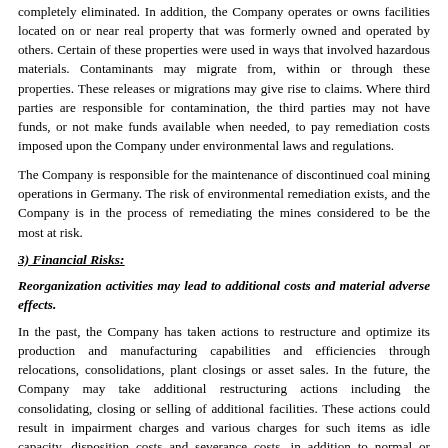completely eliminated. In addition, the Company operates or owns facilities located on or near real property that was formerly owned and operated by others. Certain of these properties were used in ways that involved hazardous materials. Contaminants may migrate from, within or through these properties. These releases or migrations may give rise to claims. Where third parties are responsible for contamination, the third parties may not have funds, or not make funds available when needed, to pay remediation costs imposed upon the Company under environmental laws and regulations.
The Company is responsible for the maintenance of discontinued coal mining operations in Germany. The risk of environmental remediation exists, and the Company is in the process of remediating the mines considered to be the most at risk.
3) Financial Risks:
Reorganization activities may lead to additional costs and material adverse effects.
In the past, the Company has taken actions to restructure and optimize its production and manufacturing capabilities and efficiencies through relocations, consolidations, plant closings or asset sales. In the future, the Company may take additional restructuring actions including the consolidating, closing or selling of additional facilities. These actions could result in impairment charges and various charges for such items as idle capacity, disposition costs and severance costs, in addition to normal or attendant risks and uncertainties. The Company may be unsuccessful in any of its current or future efforts to restructure or consolidate its business. Plans to minimize or eliminate any loss of